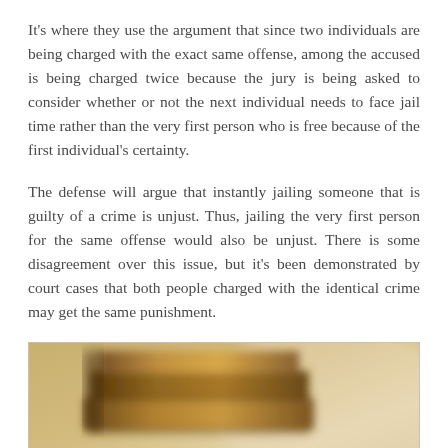It's where they use the argument that since two individuals are being charged with the exact same offense, among the accused is being charged twice because the jury is being asked to consider whether or not the next individual needs to face jail time rather than the very first person who is free because of the first individual's certainty.
The defense will argue that instantly jailing someone that is guilty of a crime is unjust. Thus, jailing the very first person for the same offense would also be unjust. There is some disagreement over this issue, but it's been demonstrated by court cases that both people charged with the identical crime may get the same punishment.
[Figure (photo): Blurred close-up photograph of stacked law books or wooden surfaces with warm brown and golden tones]